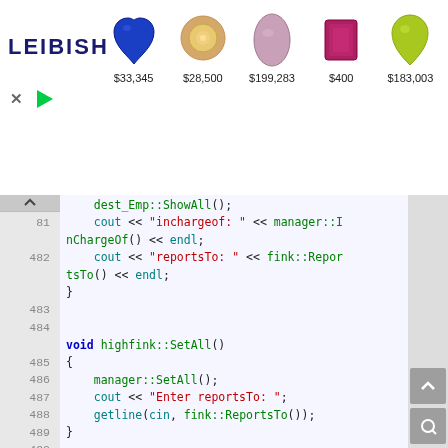[Figure (screenshot): Leibish jewelry ad banner showing 5 gemstones with prices: $33,345, $28,500, $199,283, $400, $183,003]
// code editor showing C++ source code lines 481-500 including highfink::SetAll() function and Pairs.h header file with template<class T1, class T2> class Pair definition